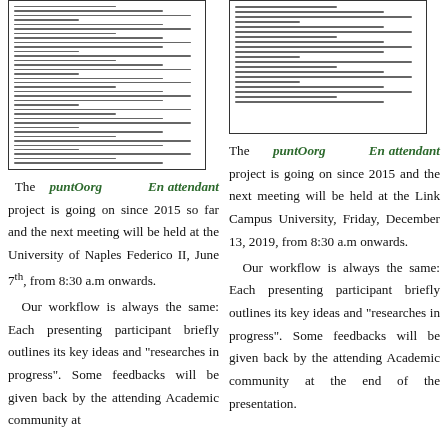[Figure (screenshot): Thumbnail/screenshot of a document page showing dense text content, left column]
[Figure (screenshot): Thumbnail/screenshot of a document page showing dense text content, right column]
The puntOorg En attendant project is going on since 2015 so far and the next meeting will be held at the University of Naples Federico II, June 7th, from 8:30 a.m onwards.
Our workflow is always the same: Each presenting participant briefly outlines its key ideas and "researches in progress". Some feedbacks will be given back by the attending Academic community at the end of the presentation.
The puntOorg En attendant project is going on since 2015 and the next meeting will be held at the Link Campus University, Friday, December 13, 2019, from 8:30 a.m onwards.
Our workflow is always the same: Each presenting participant briefly outlines its key ideas and "researches in progress". Some feedbacks will be given back by the attending Academic community at the end of the presentation.
With this 14th edition we have...